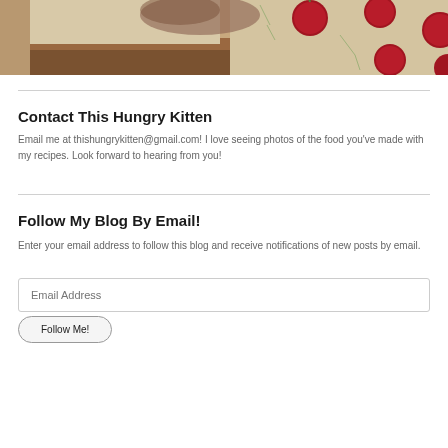[Figure (photo): A photo showing a person partially hidden under a patterned blanket/pillow with cherry/tomato designs on a light background]
Contact This Hungry Kitten
Email me at thishungrykitten@gmail.com! I love seeing photos of the food you've made with my recipes. Look forward to hearing from you!
Follow My Blog By Email!
Enter your email address to follow this blog and receive notifications of new posts by email.